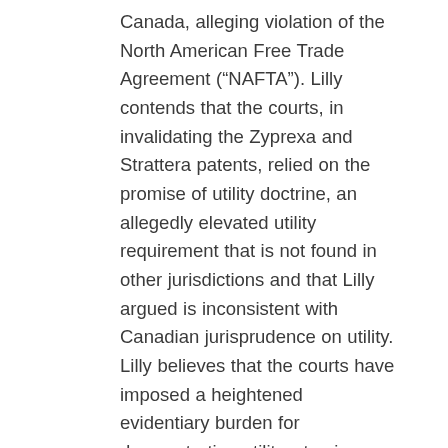Canada, alleging violation of the North American Free Trade Agreement (“NAFTA”). Lilly contends that the courts, in invalidating the Zyprexa and Strattera patents, relied on the promise of utility doctrine, an allegedly elevated utility requirement that is not found in other jurisdictions and that Lilly argued is inconsistent with Canadian jurisprudence on utility. Lilly believes that the courts have imposed a heightened evidentiary burden for demonstrating utility, straying from prior jurisprudence. The issue to be determined is what the minimum basic intellectual property principles are regarding utility, which NAFTA countries must adhere to. The